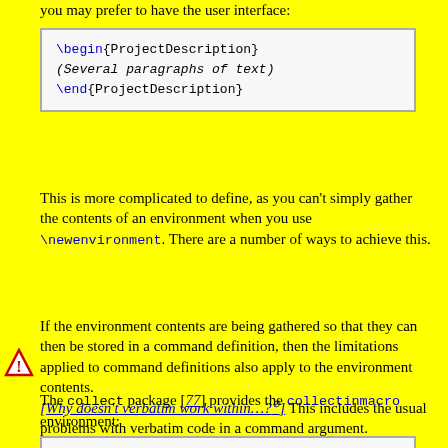you may prefer to have the user interface:
\begin{ProjectDescription}
(Several paragraphs of text)
\end{ProjectDescription}
This is more complicated to define, as you can't simply gather the contents of an environment when you use \newenvironment. There are a number of ways to achieve this.
If the environment contents are being gathered so that they can then be stored in a command definition, then the limitations applied to command definitions also apply to the environment contents. [Why doesn't verbatim work within...?] This includes the usual problems with verbatim code in a command argument.
The collect package [77] provides the collectinmacro environment:
\begin[collectinmacro]{macro}{before}